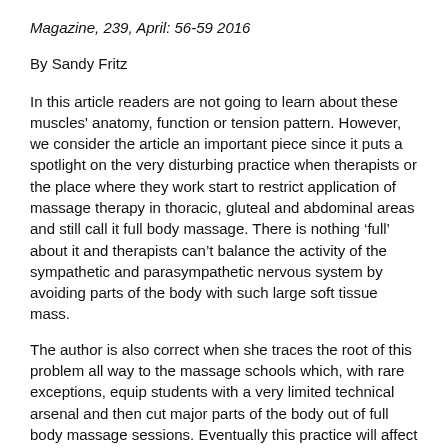Magazine, 239, April: 56-59 2016
By Sandy Fritz
In this article readers are not going to learn about these muscles' anatomy, function or tension pattern. However, we consider the article an important piece since it puts a spotlight on the very disturbing practice when therapists or the place where they work start to restrict application of massage therapy in thoracic, gluteal and abdominal areas and still call it full body massage. There is nothing ‘full’ about it and therapists can’t balance the activity of the sympathetic and parasympathetic nervous system by avoiding parts of the body with such large soft tissue mass.
The author is also correct when she traces the root of this problem all way to the massage schools which, with rare exceptions, equip students with a very limited technical arsenal and then cut major parts of the body out of full body massage sessions. Eventually this practice will affect the number of clients who are using massage therapy as a preventive measure.